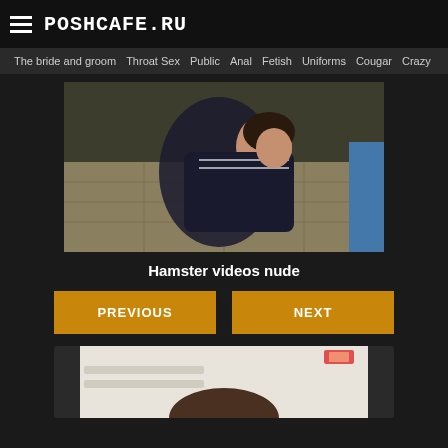POSHCAFE.RU
The bride and groom  Throat Sex  Public  Anal  Fetish  Uniforms  Cougar  Crazy
[Figure (photo): Video thumbnail showing a person lying on a tatami mat floor]
Hamster videos nude
PREVIOUS  NEXT
[Figure (photo): Partially visible thumbnail at the bottom of the page showing a person]